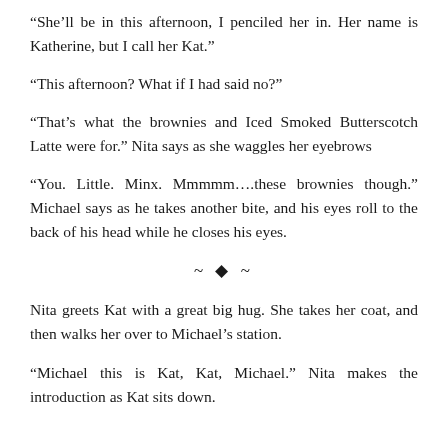“She’ll be in this afternoon, I penciled her in. Her name is Katherine, but I call her Kat.”
“This afternoon? What if I had said no?”
“That’s what the brownies and Iced Smoked Butterscotch Latte were for.” Nita says as she waggles her eyebrows
“You. Little. Minx. Mmmmm….these brownies though.” Michael says as he takes another bite, and his eyes roll to the back of his head while he closes his eyes.
~ ◆ ~
Nita greets Kat with a great big hug. She takes her coat, and then walks her over to Michael’s station.
“Michael this is Kat, Kat, Michael.” Nita makes the introduction as Kat sits down.